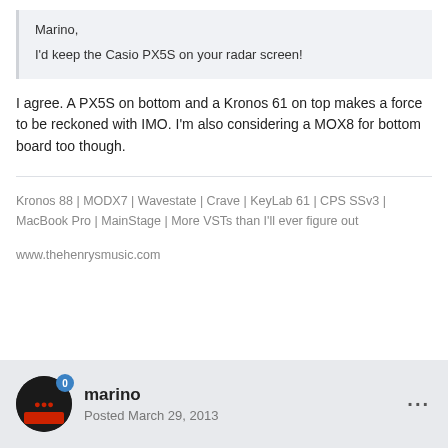Marino,

I'd keep the Casio PX5S on your radar screen!
I agree. A PX5S on bottom and a Kronos 61 on top makes a force to be reckoned with IMO. I'm also considering a MOX8 for bottom board too though.
Kronos 88 | MODX7 | Wavestate | Crave | KeyLab 61 | CPS SSv3 | MacBook Pro | MainStage | More VSTs than I'll ever figure out
www.thehenrysmusic.com
marino
Posted March 29, 2013